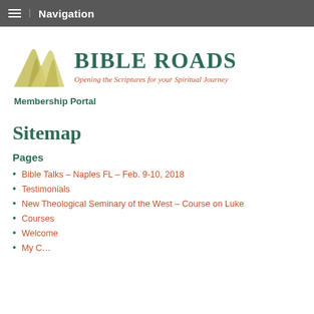Navigation
[Figure (logo): Bible Roads logo with two overlapping road/mountain shapes in olive/tan color, followed by text 'BIBLE ROADS' in dark teal serif font and tagline 'Opening the Scriptures for your Spiritual Journey' in rust/brown italic, and below 'Membership Portal' in dark teal bold.]
Sitemap
Pages
Bible Talks – Naples FL – Feb. 9-10, 2018
Testimonials
New Theological Seminary of the West – Course on Luke
Courses
Welcome
My C…